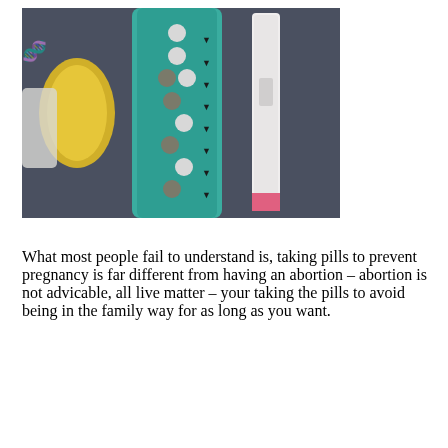[Figure (photo): Photo showing contraceptive pills in a blister pack (teal/green), a pregnancy test stick, and a yellow condom on a dark background]
What most people fail to understand is, taking pills to prevent pregnancy is far different from having an abortion – abortion is not advicable, all live matter – your taking the pills to avoid being in the family way for as long as you want.